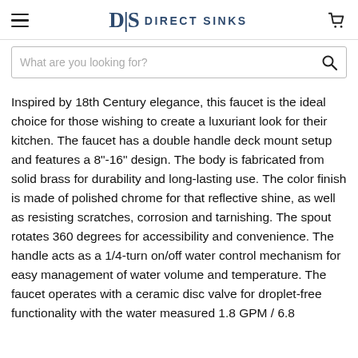D|S DIRECT SINKS
What are you looking for?
Inspired by 18th Century elegance, this faucet is the ideal choice for those wishing to create a luxuriant look for their kitchen. The faucet has a double handle deck mount setup and features a 8"-16" design. The body is fabricated from solid brass for durability and long-lasting use. The color finish is made of polished chrome for that reflective shine, as well as resisting scratches, corrosion and tarnishing. The spout rotates 360 degrees for accessibility and convenience. The handle acts as a 1/4-turn on/off water control mechanism for easy management of water volume and temperature. The faucet operates with a ceramic disc valve for droplet-free functionality with the water measured 1.8 GPM / 6.8